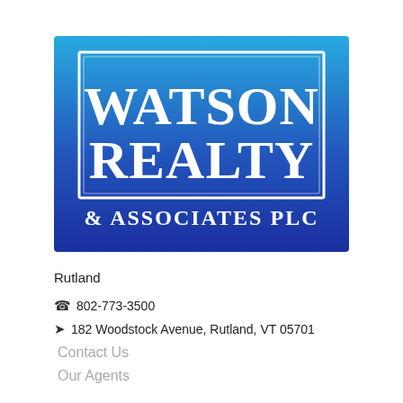[Figure (logo): Watson Realty & Associates PLC logo — blue gradient background (light blue top to dark blue/indigo bottom) with a white rectangular border inset, large white bold serif text 'WATSON REALTY' inside the border, and '& ASSOCIATES PLC' in white below the border]
Rutland
802-773-3500
182 Woodstock Avenue, Rutland, VT 05701
Contact Us
Our Agents